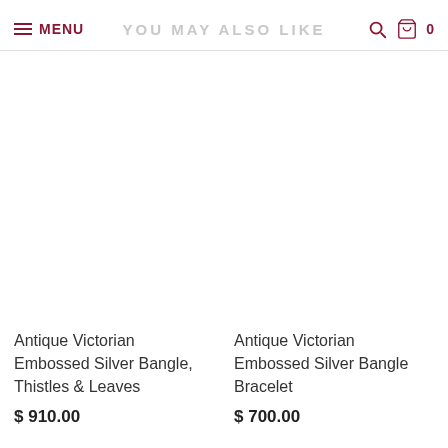MENU | YOU MAY ALSO LIKE
[Figure (photo): Blank white product image placeholder for Antique Victorian Embossed Silver Bangle, Thistles & Leaves]
Antique Victorian Embossed Silver Bangle, Thistles & Leaves
$ 910.00
[Figure (photo): Blank white product image placeholder for Antique Victorian Embossed Silver Bangle Bracelet]
Antique Victorian Embossed Silver Bangle Bracelet
$ 700.00